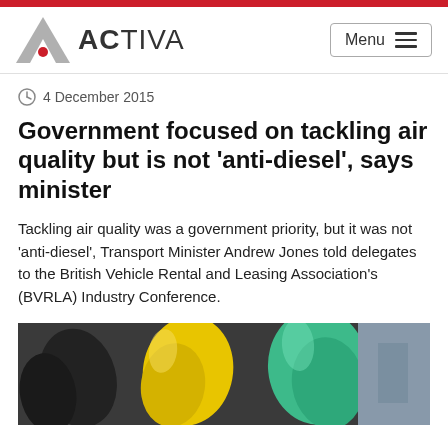ACTIVA — Navigation header with logo and Menu button
4 December 2015
Government focused on tackling air quality but is not 'anti-diesel', says minister
Tackling air quality was a government priority, but it was not 'anti-diesel', Transport Minister Andrew Jones told delegates to the British Vehicle Rental and Leasing Association's (BVRLA) Industry Conference.
[Figure (photo): Close-up photo of colorful fuel nozzles (yellow, green) at a petrol station]